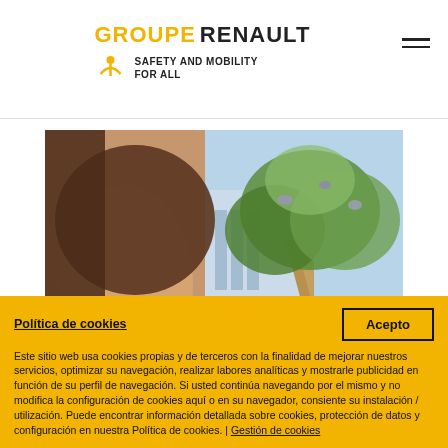GROUPE RENAULT — SAFETY AND MOBILITY FOR ALL
[Figure (photo): Young woman smiling outdoors in front of a tree and building background]
Política de cookies
Acepto
Este sitio web usa cookies propias y de terceros con la finalidad de mejorar nuestros servicios, optimizar su navegación, realizar labores analíticas y mostrarle publicidad en función de su perfil de navegación. Si usted continúa navegando por el mismo y no modifica la configuración de cookies aquí o en su navegador, consiente su instalación / utilización. Puede encontrar información detallada sobre cookies, protección de datos y configuración en nuestra Política de cookies. | Gestión de cookies